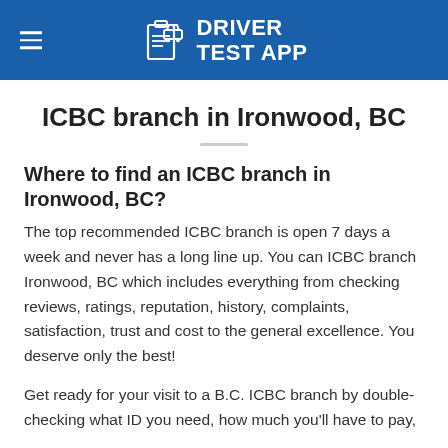DRIVER TEST APP
ICBC branch in Ironwood, BC
Where to find an ICBC branch in Ironwood, BC?
The top recommended ICBC branch is open 7 days a week and never has a long line up. You can ICBC branch Ironwood, BC which includes everything from checking reviews, ratings, reputation, history, complaints, satisfaction, trust and cost to the general excellence. You deserve only the best!
Get ready for your visit to a B.C. ICBC branch by double-checking what ID you need, how much you'll have to pay,